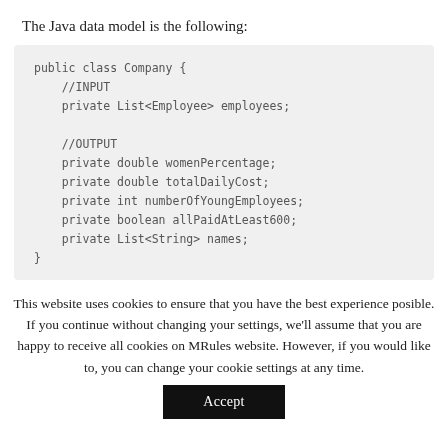The Java data model is the following:
public class Company {
    //INPUT
    private List<Employee> employees;

    //OUTPUT
    private double womenPercentage;
    private double totalDailyCost;
    private int numberOfYoungEmployees;
    private boolean allPaidAtLeast600;
    private List<String> names;
}
This website uses cookies to ensure that you have the best experience posible. If you continue without changing your settings, we'll assume that you are happy to receive all cookies on MRules website. However, if you would like to, you can change your cookie settings at any time.
Accept